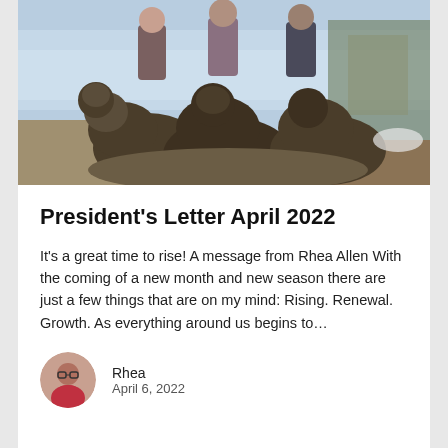[Figure (photo): Outdoor photo of people posing behind large bronze bear sculptures near a lake in winter/early spring. People are dressed in winter jackets. Snow and a frozen lake visible in the background.]
President’s Letter April 2022
It’s a great time to rise! A message from Rhea Allen With the coming of a new month and new season there are just a few things that are on my mind: Rising. Renewal. Growth. As everything around us begins to…
Rhea
April 6, 2022